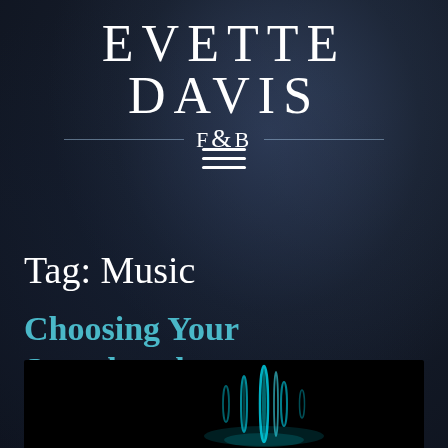EVETTE DAVIS F&B
[Figure (other): Hamburger menu icon (three horizontal white lines)]
Tag: Music
Choosing Your Soundtrack
[Figure (photo): Dark background image with glowing cyan/blue sound wave or music visualizer graphic]